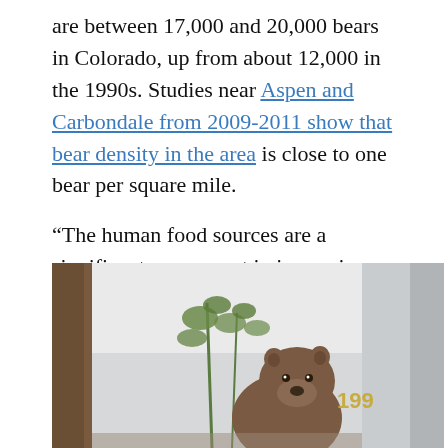are between 17,000 and 20,000 bears in Colorado, up from about 12,000 in the 1990s. Studies near Aspen and Carbondale from 2009-2011 show that bear density in the area is close to one bear per square mile.
“The human food sources are a significant component in increasing bear densities,” Vieira said.
[Figure (photo): A bear photographed near a building with the number 199 visible, surrounded by plants and a wooden post.]